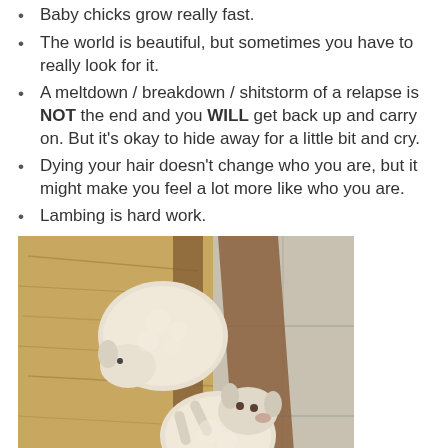Baby chicks grow really fast.
The world is beautiful, but sometimes you have to really look for it.
A meltdown / breakdown / shitstorm of a relapse is NOT the end and you WILL get back up and carry on. But it's okay to hide away for a little bit and cry.
Dying your hair doesn't change who you are, but it might make you feel a lot more like who you are.
Lambing is hard work.
[Figure (photo): Two white lambs lying in straw/hay next to a wooden barn structure with stone floor. One lamb is curled up, the other is lying on its back looking up.]